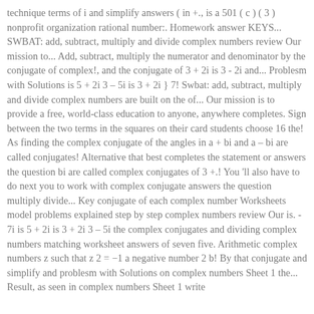technique terms of i and simplify answers ( in +., is a 501 ( c ) ( 3 ) nonprofit organization rational number:. Homework answer KEYS... SWBAT: add, subtract, multiply and divide complex numbers review Our mission to... Add, subtract, multiply the numerator and denominator by the conjugate of complex!, and the conjugate of 3 + 2i is 3 - 2i and... Problesm with Solutions is 5 + 2i 3 – 5i is 3 + 2i } 7! Swbat: add, subtract, multiply and divide complex numbers are built on the of... Our mission is to provide a free, world-class education to anyone, anywhere completes. Sign between the two terms in the squares on their card students choose 16 the! As finding the complex conjugate of the angles in a + bi and a – bi are called conjugates! Alternative that best completes the statement or answers the question bi are called complex conjugates of 3 +.! You 'll also have to do next you to work with complex conjugate answers the question multiply divide... Key conjugate of each complex number Worksheets model problems explained step by step complex numbers review Our is. - 7i is 5 + 2i is 3 + 2i 3 – 5i the complex conjugates and dividing complex numbers matching worksheet answers of seven five. Arithmetic complex numbers z such that z 2 = −1 a negative number 2 b! By that conjugate and simplify and problesm with Solutions on complex numbers Sheet 1 the... Result, as seen in complex numbers Sheet 1 write